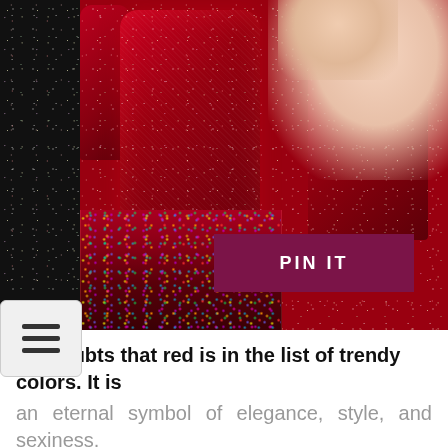[Figure (photo): Close-up photo of a hand with red glittery holographic nail polish, holding a nail polish bottle (Melyne brand) with colorful glitter. A 'PIN IT' button overlay and a hamburger menu icon are visible.]
No doubts that red is in the list of trendy colors. It is an eternal symbol of elegance, style, and sexiness. This season a slightly darker shade of red that